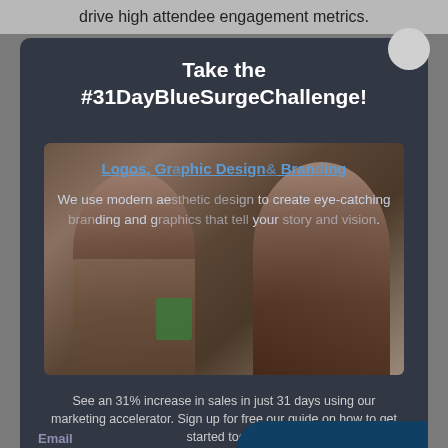drive high attendee engagement metrics.
Take the #31DayBlueSurgeChallenge!
[Figure (photo): Two people, one wearing an apron and one in a patterned shirt, smiling in what appears to be a shop or cafe setting]
Logos, Graphic Design & Branding
We use modern aesthetic design to create eye-catching branding and graphics that tell your story and vision.
See an 31% increase in sales in just 31 days using our marketing accelerator. Sign up for free our guide on how to get started today.
Email
We create and send